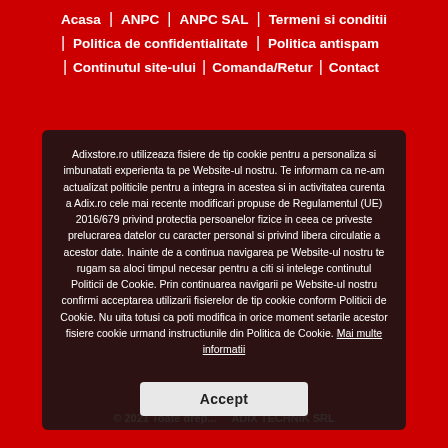Acasa | ANPC | ANPC SAL | Termeni si conditii | Politica de confidentialitate | Politica antispam | Continutul site-ului | Comanda/Retur | Contact
Adixstore.ro utilizeaza fisiere de tip cookie pentru a personaliza si imbunatati experienta ta pe Website-ul nostru. Te informam ca ne-am actualizat politicile pentru a integra in acestea si in activitatea curenta a Adix.ro cele mai recente modificari propuse de Regulamentul (UE) 2016/679 privind protectia persoanelor fizice in ceea ce priveste prelucrarea datelor cu caracter personal si privind libera circulatie a acestor date. Inainte de a continua navigarea pe Website-ul nostru te rugam sa aloci timpul necesar pentru a citi si intelege continutul Politicii de Cookie. Prin continuarea navigarii pe Website-ul nostru confirmi acceptarea utilizarii fisierelor de tip cookie conform Politicii de Cookie. Nu uita totusi ca poti modifica in orice moment setarile acestor fisiere cookie urmand instructiunile din Politica de Cookie. Mai multe informatii
Accept
© 2021 Toate drep... ADIX TECHNIK SRL